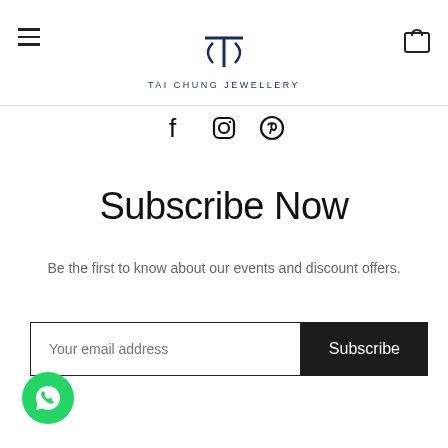TAI CHUNG JEWELLERY
[Figure (logo): Tai Chung Jewellery logo with TC monogram and brand name]
[Figure (illustration): Social media icons: Facebook, Instagram, Pinterest]
Subscribe Now
Be the first to know about our events and discount offers.
[Figure (screenshot): Email subscription form with 'Your email address' input field and 'Subscribe' button]
[Figure (illustration): WhatsApp floating button (green circle with WhatsApp icon)]